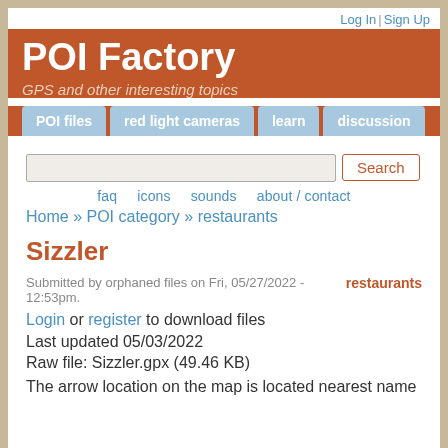Log In | Sign Up
POI Factory
GPS and other interesting topics
POI files  red light cameras  learn  discussion
faq  icons  sounds  about / contact
Home » POI category » restaurants
Sizzler
Submitted by orphaned files on Fri, 05/27/2022 - 12:53pm.
restaurants
Login or register to download files
Last updated 05/03/2022
Raw file: Sizzler.gpx (49.46 KB)
The arrow location on the map is located nearest name